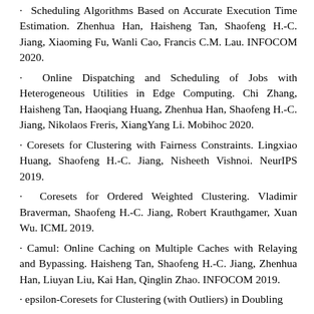Scheduling Algorithms Based on Accurate Execution Time Estimation. Zhenhua Han, Haisheng Tan, Shaofeng H.-C. Jiang, Xiaoming Fu, Wanli Cao, Francis C.M. Lau. INFOCOM 2020.
Online Dispatching and Scheduling of Jobs with Heterogeneous Utilities in Edge Computing. Chi Zhang, Haisheng Tan, Haoqiang Huang, Zhenhua Han, Shaofeng H.-C. Jiang, Nikolaos Freris, XiangYang Li. Mobihoc 2020.
Coresets for Clustering with Fairness Constraints. Lingxiao Huang, Shaofeng H.-C. Jiang, Nisheeth Vishnoi. NeurIPS 2019.
Coresets for Ordered Weighted Clustering. Vladimir Braverman, Shaofeng H.-C. Jiang, Robert Krauthgamer, Xuan Wu. ICML 2019.
Camul: Online Caching on Multiple Caches with Relaying and Bypassing. Haisheng Tan, Shaofeng H.-C. Jiang, Zhenhua Han, Liuyan Liu, Kai Han, Qinglin Zhao. INFOCOM 2019.
epsilon-Coresets for Clustering (with Outliers) in Doubling